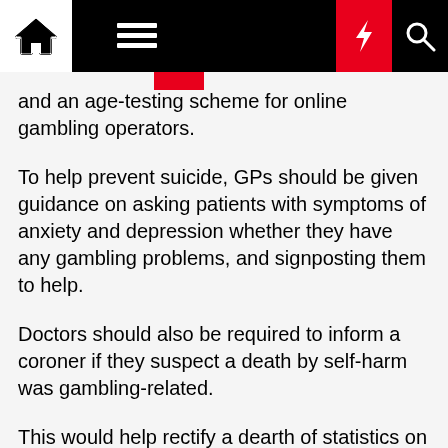navigation bar with home, menu, moon, lightning, search icons
and an age-testing scheme for online gambling operators.
To help prevent suicide, GPs should be given guidance on asking patients with symptoms of anxiety and depression whether they have any gambling problems, and signposting them to help.
Doctors should also be required to inform a coroner if they suspect a death by self-harm was gambling-related.
This would help rectify a dearth of statistics on suicides that may be linked to problem gambling.
The report also recommends that banks work with UK Finance to create a common protocol on blocking gambling payments, which would include a 48-hour "cooling-off period".